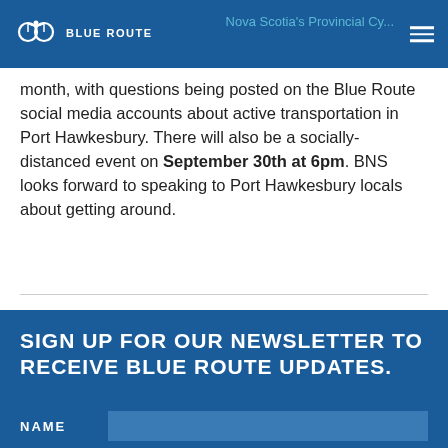BLUE ROUTE | Nova Scotia's Provincial Cy...
month, with questions being posted on the Blue Route social media accounts about active transportation in Port Hawkesbury. There will also be a socially-distanced event on September 30th at 6pm. BNS looks forward to speaking to Port Hawkesbury locals about getting around.
◄ NEWER    OLDER ►
SIGN UP FOR OUR NEWSLETTER TO RECEIVE BLUE ROUTE UPDATES.
NAME